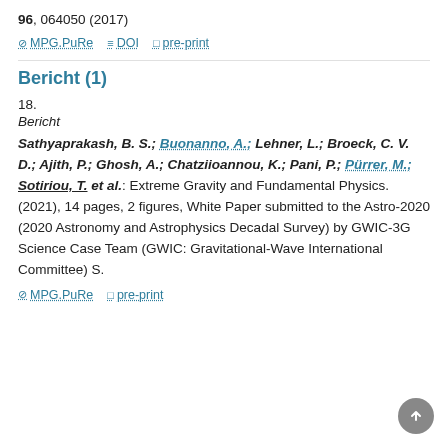96, 064050 (2017)
⊘ MPG.PuRe  ≡ DOI  □ pre-print
Bericht (1)
18.
Bericht
Sathyaprakash, B. S.; Buononanno, A.; Lehner, L.; Broeck, C. V. D.; Ajith, P.; Ghosh, A.; Chatziioannou, K.; Pani, P.; Pürrer, M.; Sotiriou, T. et al.: Extreme Gravity and Fundamental Physics. (2021), 14 pages, 2 figures, White Paper submitted to the Astro-2020 (2020 Astronomy and Astrophysics Decadal Survey) by GWIC-3G Science Case Team (GWIC: Gravitational-Wave International Committee) S.
⊘ MPG.PuRe  □ pre-print